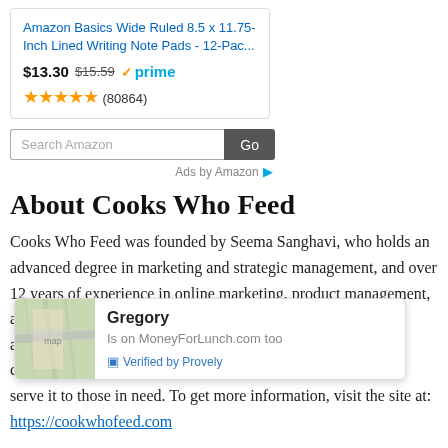[Figure (infographic): Amazon product listing card for Amazon Basics Wide Ruled 8.5 x 11.75-Inch Lined Writing Note Pads - 12-Pac..., priced at $13.30 (was $15.59), Prime eligible, 4.5 stars, 80864 reviews, with a Search Amazon search bar and Go button, and Ads by Amazon label]
About Cooks Who Feed
Cooks Who Feed was founded by Seema Sanghavi, who holds an advanced degree in marketing and strategic management, and over 12 years of experience in online marketing, product management, and product ma[nufacturing and selling]... ies around the wo[rld. She]... works with cha[ritable organizations]... to rescue food and serve it to those in need. To get more information, visit the site at: https://cookwhofeed.com
[Figure (infographic): Tooltip popup showing a map thumbnail and text: Gregory / Is on MoneyForLunch.com too / Verified by Provely]